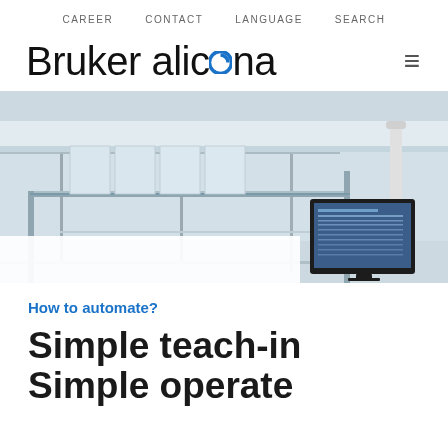CAREER   CONTACT   LANGUAGE   SEARCH
Bruker alicona
[Figure (photo): Laboratory or measurement equipment room with glass and metal frame structure, robotic arm, and computer monitor showing measurement software.]
How to automate?
Simple teach-in Simple operate